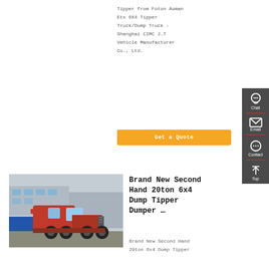Tipper from Foton Auman Etx 6X4 Tipper Truck/Dump Truck - Shanghai CIMC J.T Vehicle Manufacturer Co., Ltd.
Get a Quote
[Figure (photo): Red 6x4 heavy truck/tractor unit parked in an industrial yard with blue containers and factory buildings in background]
Brand New Second Hand 20ton 6x4 Dump Tipper Dumper …
Brand New Second Hand 20ton 6x4 Dump Tipper